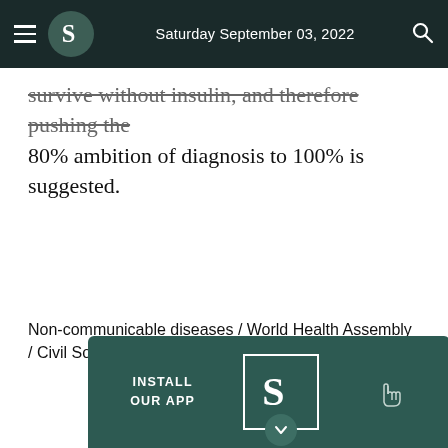Saturday September 03, 2022
survive without insulin, and therefore pushing the 80% ambition of diagnosis to 100% is suggested.
Non-communicable diseases / World Health Assembly / Civil Society
[Figure (other): Install Our App banner with B logo and hand pointer icon]